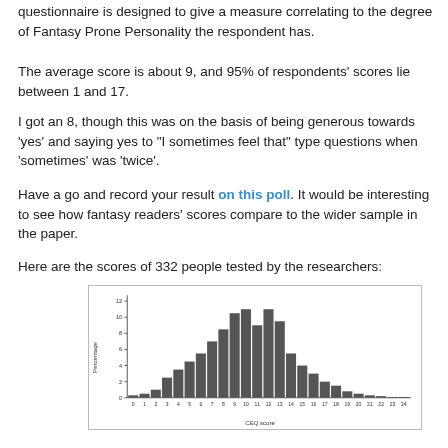questionnaire is designed to give a measure correlating to the degree of Fantasy Prone Personality the respondent has.
The average score is about 9, and 95% of respondents' scores lie between 1 and 17.
I got an 8, though this was on the basis of being generous towards 'yes' and saying yes to "I sometimes feel that" type questions when 'sometimes' was 'twice'.
Have a go and record your result on this poll. It would be interesting to see how fantasy readers' scores compare to the wider sample in the paper.
Here are the scores of 332 people tested by the researchers:
[Figure (histogram): CEQ score distribution]